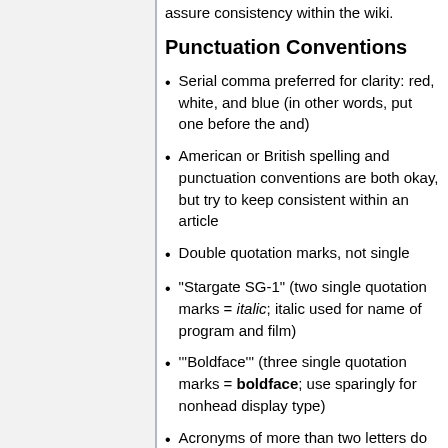assure consistency within the wiki.
Punctuation Conventions
Serial comma preferred for clarity: red, white, and blue (in other words, put one before the and)
American or British spelling and punctuation conventions are both okay, but try to keep consistent within an article
Double quotation marks, not single
"Stargate SG-1" (two single quotation marks = italic; italic used for name of program and film)
'''Boldface''' (three single quotation marks = boldface; use sparingly for nonhead display type)
Acronyms of more than two letters do not use periods: USAF, DHD
Acronyms of two letters do use